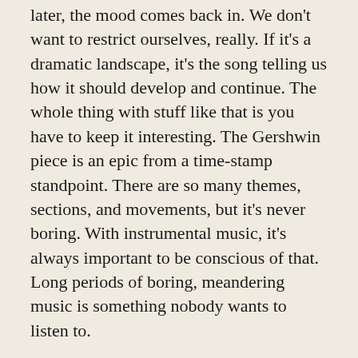later, the mood comes back in. We don't want to restrict ourselves, really. If it's a dramatic landscape, it's the song telling us how it should develop and continue. The whole thing with stuff like that is you have to keep it interesting. The Gershwin piece is an epic from a time-stamp standpoint. There are so many themes, sections, and movements, but it's never boring. With instrumental music, it's always important to be conscious of that. Long periods of boring, meandering music is something nobody wants to listen to.
Similar question but when it comes to instruments are the members of Liquid Tension Experiment thinking of other instruments/sounds? There's a universe of instruments out there.